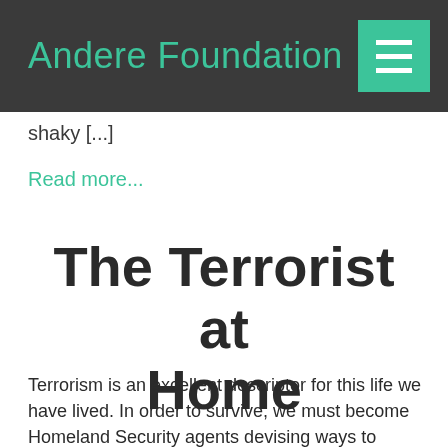Andere Foundation
shaky [...]
Read more...
The Terrorist at Home
Terrorism is an excellent descriptor for this life we have lived. In order to survive, we must become Homeland Security agents devising ways to liberate the homeland hostages and